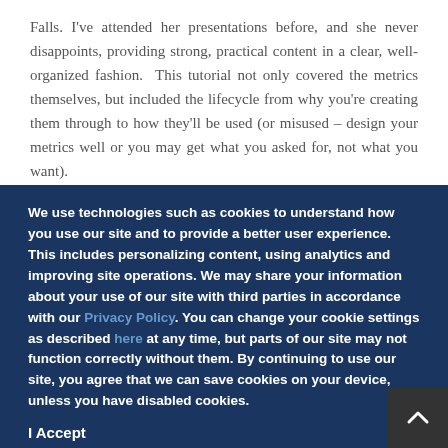Falls. I've attended her presentations before, and she never disappoints, providing strong, practical content in a clear, well-organized fashion.  This tutorial not only covered the metrics themselves, but included the lifecycle from why you're creating them through to how they'll be used (or misused – design your metrics well or you may get what you asked for, not what you want).
We use technologies such as cookies to understand how you use our site and to provide a better user experience. This includes personalizing content, using analytics and improving site operations. We may share your information about your use of our site with third parties in accordance with our Privacy Policy. You can change your cookie settings as described here at any time, but parts of our site may not function correctly without them. By continuing to use our site, you agree that we can save cookies on your device, unless you have disabled cookies.
I Accept